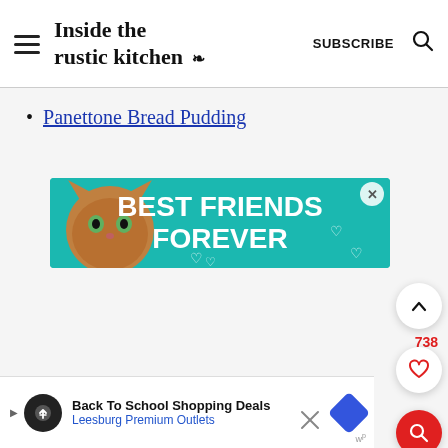Inside the rustic kitchen — SUBSCRIBE
Panettone Bread Pudding
[Figure (photo): Advertisement banner with teal background, cat photo, and bold white text reading BEST FRIENDS FOREVER with heart icons and an X close button]
[Figure (screenshot): Side UI buttons: up chevron circle button, count 738 in red, heart circle button, red circle search button]
[Figure (screenshot): Bottom ad bar: Back To School Shopping Deals, Leesburg Premium Outlets, with close X and wp logo]